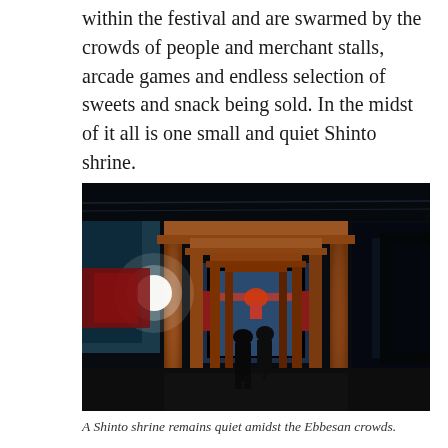within the festival and are swarmed by the crowds of people and merchant stalls, arcade games and endless selection of sweets and snack being sold. In the midst of it all is one small and quiet Shinto shrine.
[Figure (photo): A nighttime photograph looking through a series of wooden torii gates (Japanese Shinto shrine gate columns in dark orange/brown wood) forming a tunnel-like corridor. At the far end, a brightly lit shrine is visible with blue and red decorations. Two people are silhouetted walking toward the shrine. On the left side, a bright white light glows. The scene is dark overall with warm wooden gate tones.]
A Shinto shrine remains quiet amidst the Ebbesan crowds.